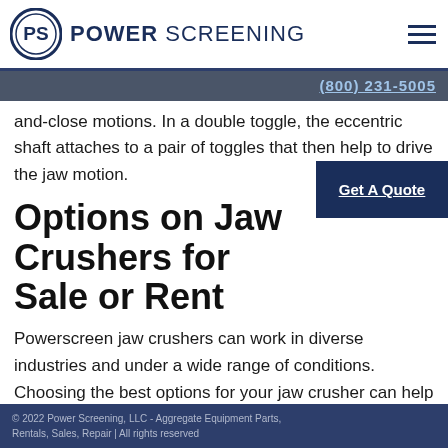[Figure (logo): Power Screening logo with circular PS emblem and bold text POWER SCREENING]
and-close motions. In a double toggle, the eccentric shaft attaches to a pair of toggles that then help to drive the jaw motion.
Options on Jaw Crushers for Sale or Rent
Powerscreen jaw crushers can work in diverse industries and under a wide range of conditions. Choosing the best options for your jaw crusher can help you operate more efficiently and profitably. It can also help you take on a
© 2022 Power Screening, LLC - Aggregate Equipment Parts, Rentals, Sales, Repair | All rights reserved